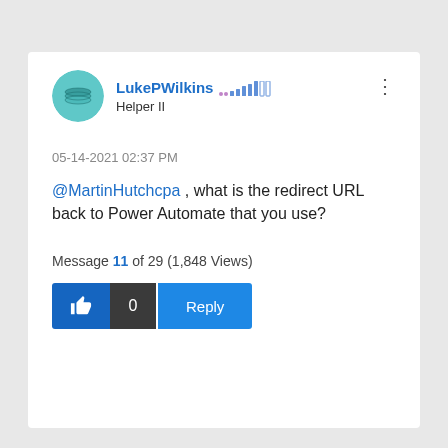LukePWilkins  Helper II
05-14-2021 02:37 PM
@MartinHutchcpa , what is the redirect URL back to Power Automate that you use?
Message 11 of 29 (1,848 Views)